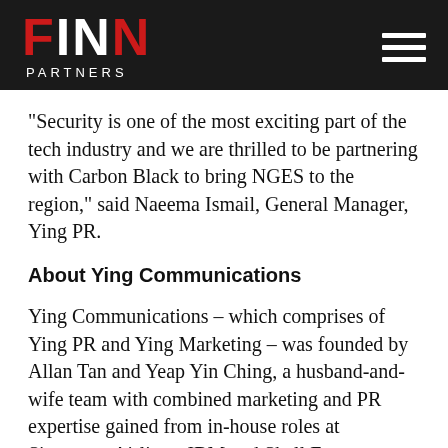FINN PARTNERS
“Security is one of the most exciting part of the tech industry and we are thrilled to be partnering with Carbon Black to bring NGES to the region,” said Naeema Ismail, General Manager, Ying PR.
About Ying Communications
Ying Communications – which comprises of Ying PR and Ying Marketing – was founded by Allan Tan and Yeap Yin Ching, a husband-and-wife team with combined marketing and PR expertise gained from in-house roles at Singapore Airlines, IBM and Shell Eastern Petroleum. They started Ying Communications in May 2001 to provide integrated B2B communications services to